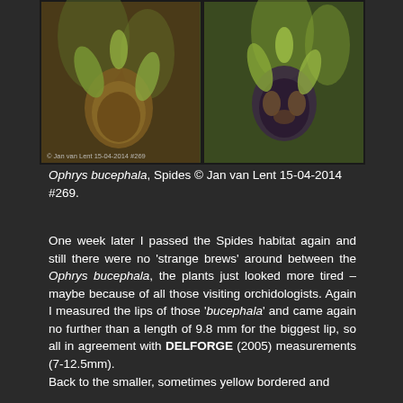[Figure (photo): Two side-by-side close-up photos of Ophrys bucephala orchid flowers against a blurred green/brown background. The left flower shows brown/tan coloring, the right shows a darker flower with purple-brown patterned lip. Photo credit watermark: © Jan van Lent 15-04-2014 #269.]
Ophrys bucephala, Spides © Jan van Lent 15-04-2014 #269.
One week later I passed the Spides habitat again and still there were no 'strange brews' around between the Ophrys bucephala, the plants just looked more tired – maybe because of all those visiting orchidologists. Again I measured the lips of those 'bucephala' and came again no further than a length of 9.8 mm for the biggest lip, so all in agreement with DELFORGE (2005) measurements (7-12.5mm).
Back to the smaller, sometimes yellow bordered and